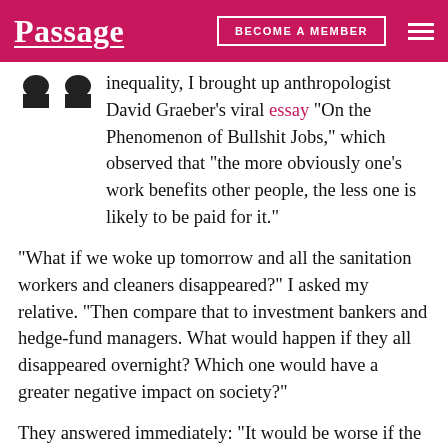Passage | BECOME A MEMBER
inequality, I brought up anthropologist David Graeber's viral essay "On the Phenomenon of Bullshit Jobs," which observed that "the more obviously one's work benefits other people, the less one is likely to be paid for it."
"What if we woke up tomorrow and all the sanitation workers and cleaners disappeared?" I asked my relative. "Then compare that to investment bankers and hedge-fund managers. What would happen if they all disappeared overnight? Which one would have a greater negative impact on society?"
They answered immediately: "It would be worse if the investment bankers disappeared."
I was surprised and it took me a moment to collect my